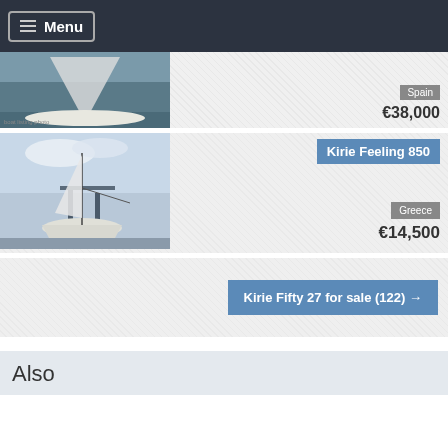Menu
[Figure (photo): Partial sailboat listing card — boat on water, Spain location, €38,000]
Spain
€38,000
Kirie Feeling 850
[Figure (photo): Sailboat on dry dock/crane, Kirie Feeling 850 listing]
Greece
€14,500
Kirie Fifty 27 for sale (122) →
Also